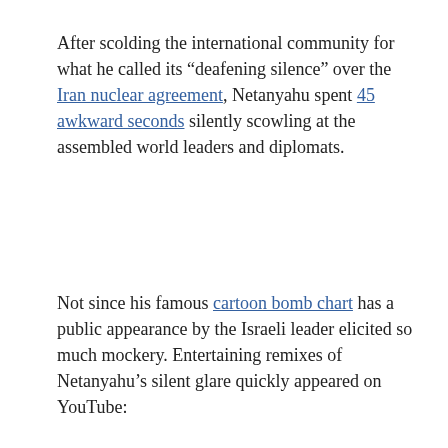After scolding the international community for what he called its “deafening silence” over the Iran nuclear agreement, Netanyahu spent 45 awkward seconds silently scowling at the assembled world leaders and diplomats.
Not since his famous cartoon bomb chart has a public appearance by the Israeli leader elicited so much mockery. Entertaining remixes of Netanyahu’s silent glare quickly appeared on YouTube:
[Figure (screenshot): Embedded video player with dark background showing 0:00 timestamp, play button, volume icon, fullscreen icon, and more options icon, with a progress bar at the bottom.]